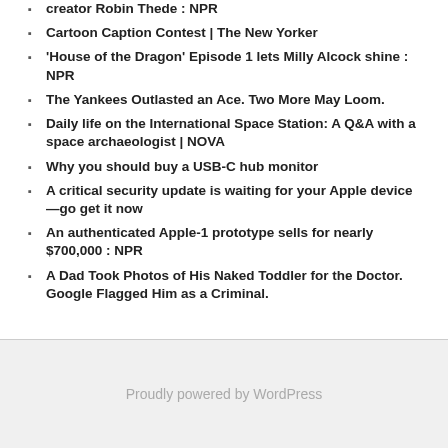creator Robin Thede : NPR
Cartoon Caption Contest | The New Yorker
'House of the Dragon' Episode 1 lets Milly Alcock shine : NPR
The Yankees Outlasted an Ace. Two More May Loom.
Daily life on the International Space Station: A Q&A with a space archaeologist | NOVA
Why you should buy a USB-C hub monitor
A critical security update is waiting for your Apple device—go get it now
An authenticated Apple-1 prototype sells for nearly $700,000 : NPR
A Dad Took Photos of His Naked Toddler for the Doctor. Google Flagged Him as a Criminal.
Proudly powered by WordPress